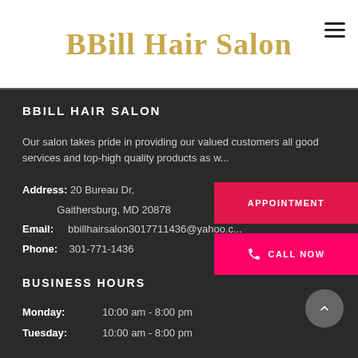BBill Hair Salon
BBILL HAIR SALON
Our salon takes pride in providing our valued customers all good services and top-high quality products as w...
Address: 20 Bureau Dr, Gaithersburg, MD 20878
Email: bbillhairsalon3017711436@yahoo.c...
Phone: 301-771-1436
BUSINESS HOURS
Monday:    10:00 am - 8:00 pm
Tuesday:   10:00 am - 8:00 pm